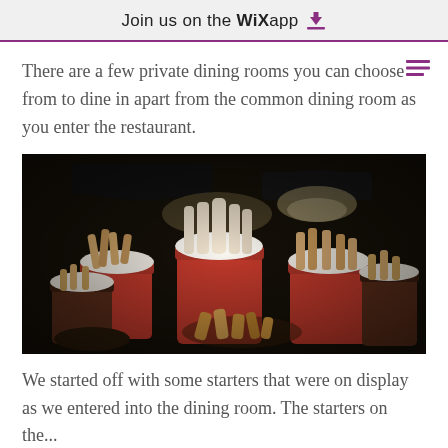Join us on the WiX app
There are a few private dining rooms you can choose from to dine in apart from the common dining room as you enter the restaurant.
[Figure (photo): Photo of food starters — spring rolls and finger foods served in red and dark cylindrical cups lined with paper, illuminated by overhead lamps in a dimly lit restaurant setting.]
We started off with some starters that were on display as we entered into the dining room. The starters on the table...